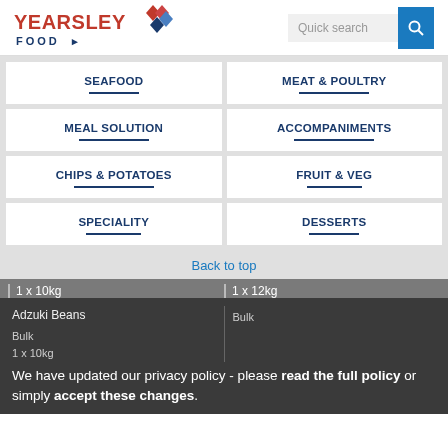[Figure (logo): Yearsley Food logo with red text YEARSLEY, blue diamonds graphic, and blue FOOD text below]
Quick search
SEAFOOD
MEAT & POULTRY
MEAL SOLUTION
ACCOMPANIMENTS
CHIPS & POTATOES
FRUIT & VEG
SPECIALITY
DESSERTS
Back to top
1 x 10kg
1 x 12kg
Adzuki Beans
Bulk
1 x 10kg
Bulk
We have updated our privacy policy - please read the full policy or simply accept these changes.